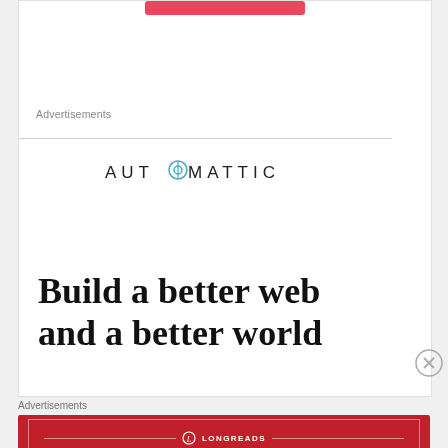Advertisements
[Figure (logo): Automattic logo — company name in spaced sans-serif with a compass/target icon replacing the letter O]
Build a better web and a better world
[Figure (infographic): Close (X) button circle]
Advertisements
[Figure (logo): Longreads banner ad — red background with Longreads logo and tagline: The best stories on the web — ours, and everyone else's.]